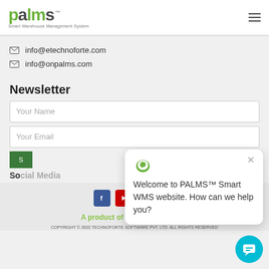[Figure (logo): PALMS Smart Warehouse Management System logo in green with hamburger menu icon]
info@etechnoforte.com
info@onpalms.com
Newsletter
Your Name (form input)
Your Email (form input)
Social media icons: Facebook, YouTube, LinkedIn, Twitter
A product of technoforte
[Figure (screenshot): Chat popup: Welcome to PALMS TM Smart WMS website. How can we help you?]
COPYRIGHT © 2022 TECHNOFORTE SOFTWARE PVT. LTD. ALL RIGHTS RESERVED